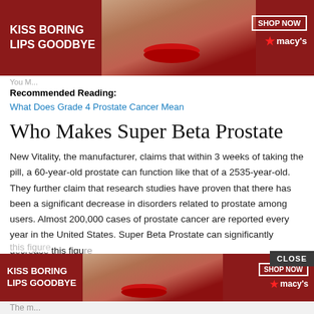[Figure (screenshot): Macy's advertisement banner: 'KISS BORING LIPS GOODBYE' with woman's face and red lips, SHOP NOW button, Macy's star logo]
Recommended Reading:
What Does Grade 4 Prostate Cancer Mean
Who Makes Super Beta Prostate
New Vitality, the manufacturer, claims that within 3 weeks of taking the pill, a 60-year-old prostate can function like that of a 2535-year-old. They further claim that research studies have proven that there has been a significant decrease in disorders related to prostate among users. Almost 200,000 cases of prostate cancer are reported every year in the United States. Super Beta Prostate can significantly decrease this figu
[Figure (screenshot): Macy's advertisement banner (bottom): 'KISS BORING LIPS GOODBYE' with woman's face and red lips, SHOP NOW button, Macy's star logo]